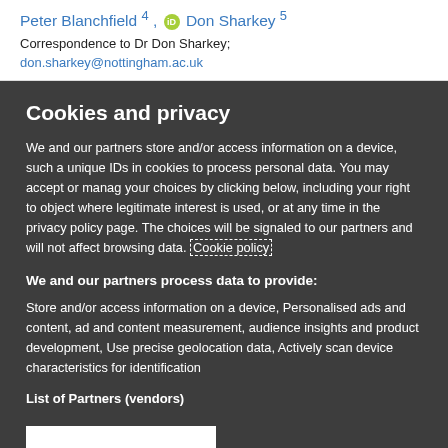Peter Blanchfield 4 , Don Sharkey 5
Correspondence to Dr Don Sharkey;
don.sharkey@nottingham.ac.uk
Cookies and privacy
We and our partners store and/or access information on a device, such a unique IDs in cookies to process personal data. You may accept or manag your choices by clicking below, including your right to object where legitimate interest is used, or at any time in the privacy policy page. The choices will be signaled to our partners and will not affect browsing data. Cookie policy
We and our partners process data to provide:
Store and/or access information on a device, Personalised ads and content, ad and content measurement, audience insights and product development, Use precise geolocation data, Actively scan device characteristics for identification
List of Partners (vendors)
I Accept